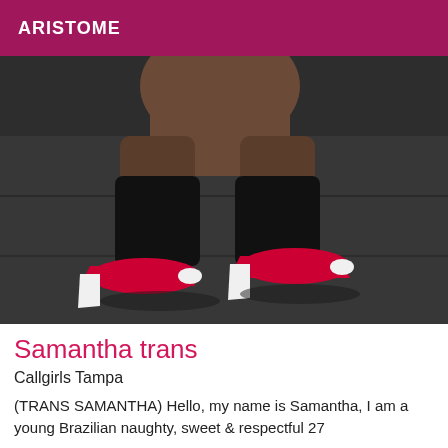ARISTOME
[Figure (photo): Photo of legs in red and white high heel shoes on a dark sofa]
Samantha trans
Callgirls Tampa
(TRANS SAMANTHA) Hello, my name is Samantha, I am a young Brazilian naughty, sweet & respectful 27